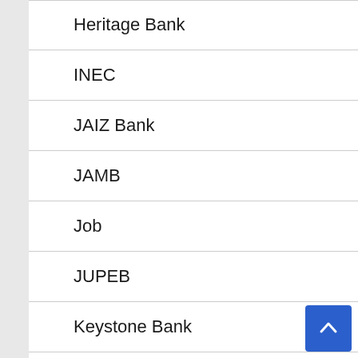Heritage Bank
INEC
JAIZ Bank
JAMB
Job
JUPEB
Keystone Bank
Lifestyle